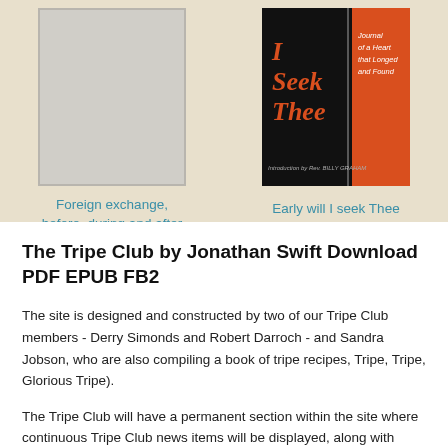[Figure (illustration): Placeholder book cover image (grey rectangle with border)]
Foreign exchange, before, during and after the war.
[Figure (photo): Book cover of 'I Seek Thee - Journal of a Heart that Longed and Found', introduction by Billy Graham, black and orange cover]
Early will I seek Thee
The Tripe Club by Jonathan Swift Download PDF EPUB FB2
The site is designed and constructed by two of our Tripe Club members - Derry Simonds and Robert Darroch - and Sandra Jobson, who are also compiling a book of tripe recipes, Tripe, Tripe, Glorious Tripe).
The Tripe Club will have a permanent section within the site where continuous Tripe Club news items will be displayed, along with...